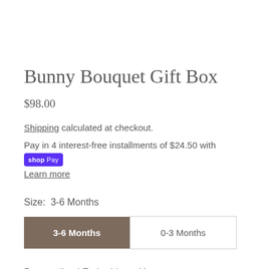Bunny Bouquet Gift Box
$98.00
Shipping calculated at checkout.
Pay in 4 interest-free installments of $24.50 with Shop Pay
Learn more
Size:  3-6 Months
3-6 Months   0-3 Months
Personalized Embroidery:  Yes